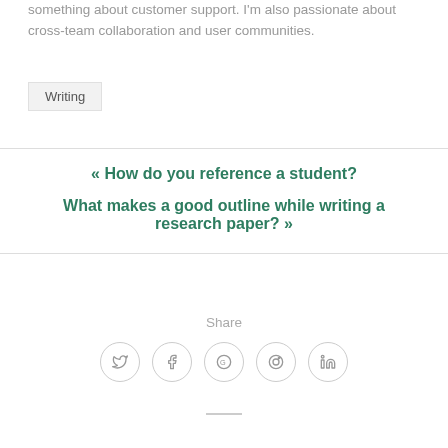something about customer support. I'm also passionate about cross-team collaboration and user communities.
Writing
« How do you reference a student?
What makes a good outline while writing a research paper? »
Share